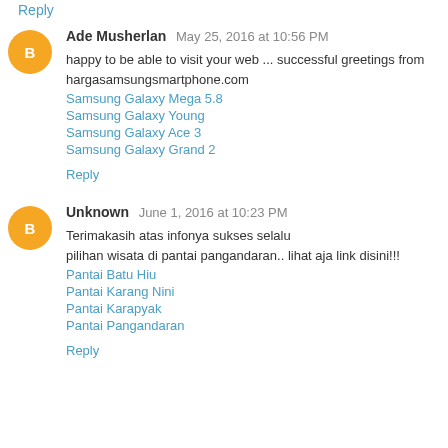Reply
Ade Musherlan  May 25, 2016 at 10:56 PM
happy to be able to visit your web ... successful greetings from hargasamsungsmartphone.com
Samsung Galaxy Mega 5.8
Samsung Galaxy Young
Samsung Galaxy Ace 3
Samsung Galaxy Grand 2
Reply
Unknown  June 1, 2016 at 10:23 PM
Terimakasih atas infonya sukses selalu
pilihan wisata di pantai pangandaran.. lihat aja link disini!!!
Pantai Batu Hiu
Pantai Karang Nini
Pantai Karapyak
Pantai Pangandaran
Reply